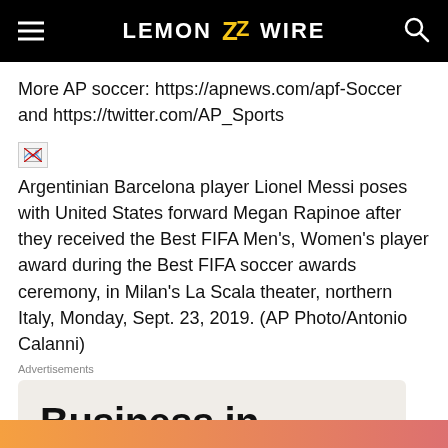LEMON WIRE
More AP soccer: https://apnews.com/apf-Soccer and https://twitter.com/AP_Sports
[Figure (photo): Broken image placeholder icon]
Argentinian Barcelona player Lionel Messi poses with United States forward Megan Rapinoe after they received the Best FIFA Men’s, Women’s player award during the Best FIFA soccer awards ceremony, in Milan’s La Scala theater, northern Italy, Monday, Sept. 23, 2019. (AP Photo/Antonio Calanni)
Advertisements
[Figure (other): Advertisement box with text: Business in the front...]